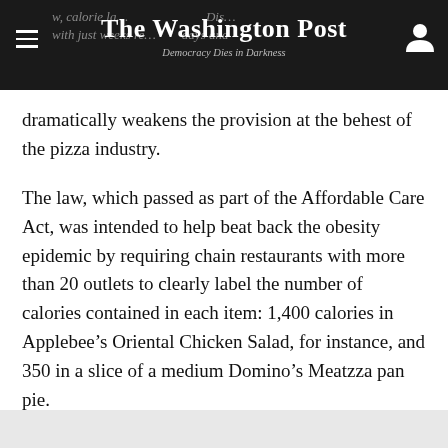The Washington Post
Democracy Dies in Darkness
dramatically weakens the provision at the behest of the pizza industry.
The law, which passed as part of the Affordable Care Act, was intended to help beat back the obesity epidemic by requiring chain restaurants with more than 20 outlets to clearly label the number of calories contained in each item: 1,400 calories in Applebee’s Oriental Chicken Salad, for instance, and 350 in a slice of a medium Domino’s Meatzza pan pie.
Since then, chains such as Panera, Starbucks and McDonald’s have complied with the law and posted